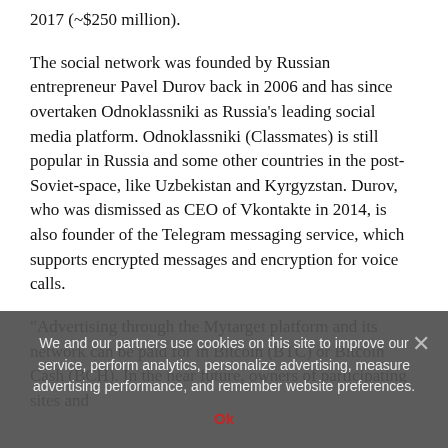2017 (~$250 million).
The social network was founded by Russian entrepreneur Pavel Durov back in 2006 and has since overtaken Odnoklassniki as Russia's leading social media platform. Odnoklassniki (Classmates) is still popular in Russia and some other countries in the post-Soviet-space, like Uzbekistan and Kyrgyzstan. Durov, who was dismissed as CEO of Vkontakte in 2014, is also founder of the Telegram messaging service, which supports encrypted messages and encryption for voice calls.
"Advertising through the Mytarget platform and its network can be paid for in Bitcoin (BTC) or Bitcoin Cash (BCH). In the near future, owners of participating sites and
We and our partners use cookies on this site to improve our service, perform analytics, personalize advertising, measure advertising performance, and remember website preferences.
Ok